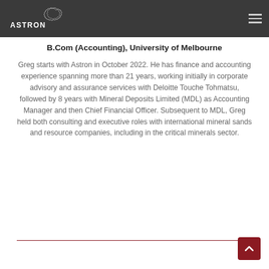ASTRON
B.Com (Accounting), University of Melbourne
Greg starts with Astron in October 2022. He has finance and accounting experience spanning more than 21 years, working initially in corporate advisory and assurance services with Deloitte Touche Tohmatsu, followed by 8 years with Mineral Deposits Limited (MDL) as Accounting Manager and then Chief Financial Officer. Subsequent to MDL, Greg held both consulting and executive roles with international mineral sands and resource companies, including in the critical minerals sector.